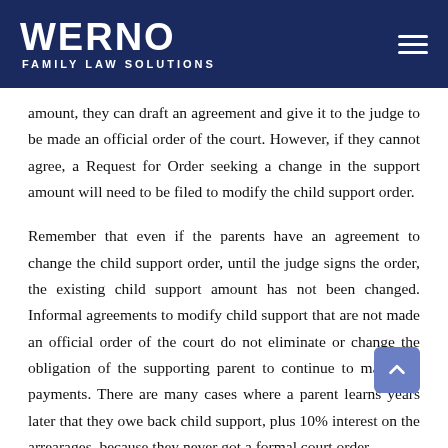WERNO FAMILY LAW SOLUTIONS
amount, they can draft an agreement and give it to the judge to be made an official order of the court. However, if they cannot agree, a Request for Order seeking a change in the support amount will need to be filed to modify the child support order.
Remember that even if the parents have an agreement to change the child support order, until the judge signs the order, the existing child support amount has not been changed. Informal agreements to modify child support that are not made an official order of the court do not eliminate or change the obligation of the supporting parent to continue to make the payments. There are many cases where a parent learns years later that they owe back child support, plus 10% interest on the arrearages, because they never got a formal court order...